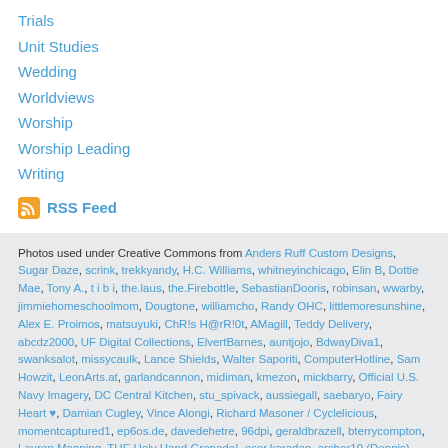Trials
Unit Studies
Wedding
Worldviews
Worship
Worship Leading
Writing
RSS Feed
Photos used under Creative Commons from Anders Ruff Custom Designs, Sugar Daze, scrink, trekkyandy, H.C. Williams, whitneyinchicago, Elin B, Dottie Mae, Tony A., t i b i, the.laus, the.Firebottle, SebastianDooris, robinsan, wwarby, jimmiehomeschoolmom, Dougtone, williamcho, Randy OHC, littlemoresunshine, Alex E. Proimos, matsuyuki, ChR!s H@rR!0t, AMagill, Teddy Delivery, abcdz2000, UF Digital Collections, ElvertBarnes, auntjojo, BdwayDiva1, swanksalot, missycaulk, Lance Shields, Walter Saporiti, ComputerHotline, Sam Howzit, LeonArts.at, garlandcannon, midiman, kmezon, mickbarry, Official U.S. Navy Imagery, DC Central Kitchen, stu_spivack, aussiegall, saebaryo, Fairy Heart ♥, Damian Cugley, Vince Alongi, Richard Masoner / Cyclelicious, momentcaptured1, ep6os.de, davedehetre, 96dpi, geraldbrazell, bterrycompton, Lauren Manning, THE Holy Hand Grenade!, eser.karadag, archer10 (Dennis), Catholic Westminster, SmithGreg, flypig, jelene, rust.bucket, Robert Scoble, Sterling College, SharonaGott, timparkinson, Fire At Will [Photography], KitAy, mareeshastar, Dougtone, Ed Yourdon, California Cthulhu (Will Hart), John-Morgan, Monica's Dad, ktylerconk, doegox, Khairil Zhafri, floodllama, mattjlc,